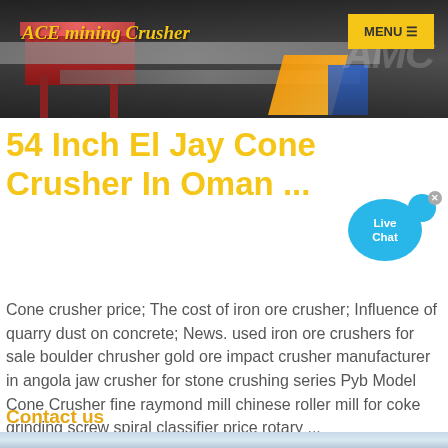[Figure (photo): Industrial mining machinery banner with header showing conveyor belts and equipment in dark tones with orange and blue accents]
ACE mining Crusher
54 Inch El Jay Cone Crusher In Oman ...
Cone crusher price; The cost of iron ore crusher; Influence of quarry dust on concrete; News. used iron ore crushers for sale boulder chrusher gold ore impact crusher manufacturer in angola jaw crusher for stone crushing series Pyb Model Cone Crusher fine raymond mill chinese roller mill for coke grinding screw spiral classifier price rotary ...
Contact us